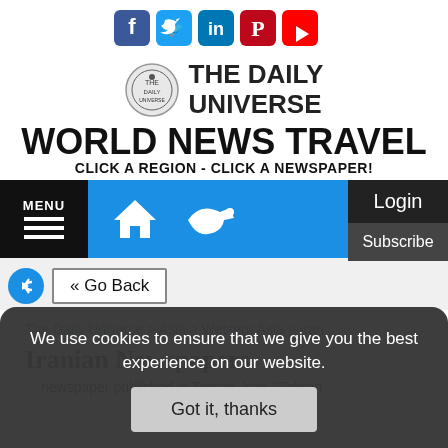[Figure (other): Social media icons: Facebook, Twitter, LinkedIn, Pinterest, YouTube]
[Figure (logo): The Daily Universe logo with circular emblem and bold text]
WORLD NEWS TRAVEL
CLICK A REGION - CLICK A NEWSPAPER!
[Figure (other): Navigation bar with MENU button, home icon, airplane icon, Login and Subscribe buttons]
« Go Back
The Daily Universe > Asia > Western Asia > Iran
Iranian Newspapers
We use cookies to ensure that we give you the best experience on our website.
Got it, thanks
newspaper published in Tehran, Iran. "Tehran